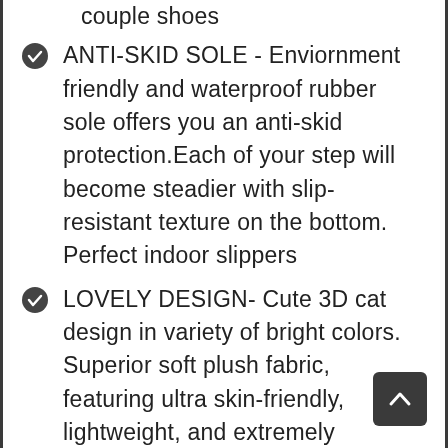couple shoes
ANTI-SKID SOLE - Enviornment friendly and waterproof rubber sole offers you an anti-skid protection.Each of your step will become steadier with slip-resistant texture on the bottom. Perfect indoor slippers
LOVELY DESIGN- Cute 3D cat design in variety of bright colors. Superior soft plush fabric, featuring ultra skin-friendly, lightweight, and extremely comfortable to wear